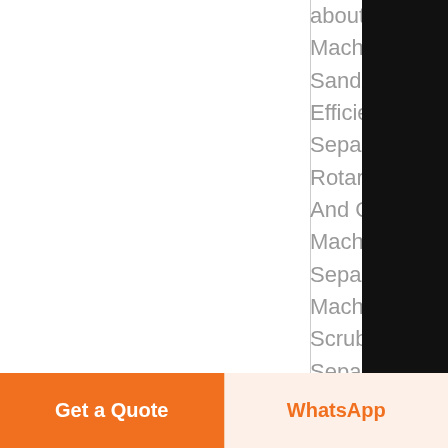about Gold Sepa Machine Gravel Sand Separator Efficient Gravity Separation Equi Rotary Scrubber And Gravel Sepa Machine,Gold Separating Machine,Rotary Scrubber from M Separator Supp Manufacturer-Jia Shicheng Mine
[Figure (screenshot): Right sidebar with Chat (headphones icon), E-mail (document icon), Top (up arrow), and close (X) buttons on dark background]
Get a Quote
WhatsApp